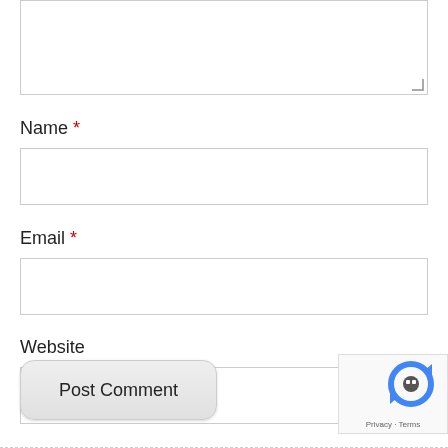[Figure (screenshot): Partially visible textarea input box at the top of the page with resize handle]
Name *
[Figure (screenshot): Empty text input box for Name field]
Email *
[Figure (screenshot): Empty text input box for Email field]
Website
[Figure (screenshot): Empty text input box for Website field]
[Figure (screenshot): Post Comment button with rounded corners]
[Figure (screenshot): reCAPTCHA widget showing robot icon and Privacy - Terms footer text]